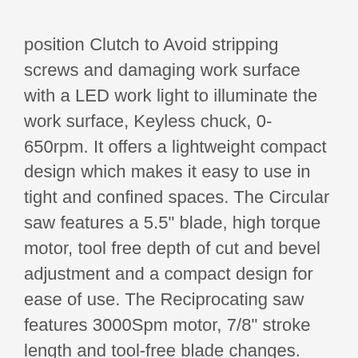position Clutch to Avoid stripping screws and damaging work surface with a LED work light to illuminate the work surface, Keyless chuck, 0-650rpm. It offers a lightweight compact design which makes it easy to use in tight and confined spaces. The Circular saw features a 5.5" blade, high torque motor, tool free depth of cut and bevel adjustment and a compact design for ease of use. The Reciprocating saw features 3000Spm motor, 7/8" stroke length and tool-free blade changes. The work light is a handy, powerful light up to 70 lumens, for up to 11 hours of runtime for all types of tasks. The articulating LED bulb runs on a 20V Lithium battery. This Kit also includes (2) 20V max* batteries for no downtime. Backed by black+decker's 2 year limited warranty. Kit includes: (1) Ldx120 drill/Driver, (1) Bdccs20 Circular saw, (1) Bdcr20 Reciprocating saw, (1) Bdcf20 work light, (2) LBXR20 20V max* batteries, (1) battery charger, (1) double ended bit